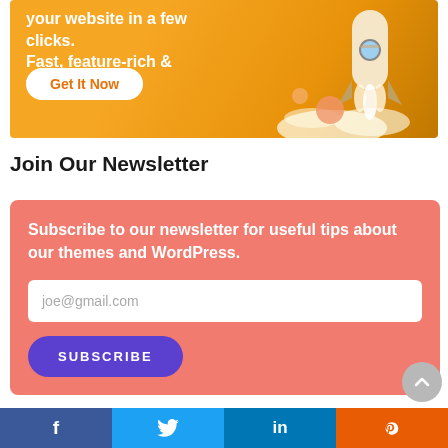[Figure (illustration): Orange/yellow advertisement banner with rocket illustration and 'Get It Now' button. Text reads: 'your website in a few clicks. Fast, feature-rich & visual!']
Join Our Newsletter
[Figure (infographic): Salmon/coral colored newsletter signup box with text 'Subscribe to our newsletter for useful tips about our themes and WordPress.', an email input field with placeholder 'joe@gmail.com', and a purple 'SUBSCRIBE' button]
[Figure (infographic): Social sharing bar at the bottom with Facebook (dark blue), Twitter (light blue), LinkedIn (blue), and Reddit (orange-red) buttons]